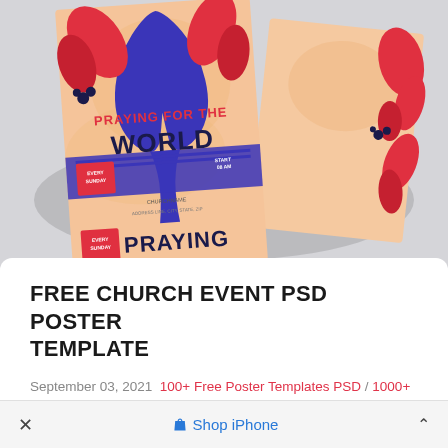[Figure (photo): Photograph of two church event PSD poster templates with peach/salmon background. The posters feature 'PRAYING FOR THE WORLD' text in bold blue and red, decorated with red leaf illustrations and a blue praying hands silhouette. Text includes 'EVERY SUNDAY', 'CHURCH NAME', 'START 08 AM'.]
FREE CHURCH EVENT PSD POSTER TEMPLATE
September 03, 2021  100+ Free Poster Templates PSD / 1000+ Free Print Templates in PSD
× Shop iPhone ^